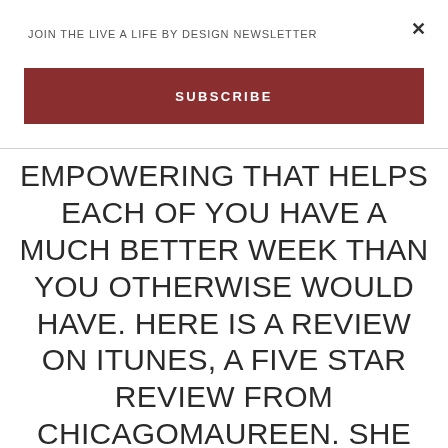×
JOIN THE LIVE A LIFE BY DESIGN NEWSLETTER
SUBSCRIBE
EMPOWERING THAT HELPS EACH OF YOU HAVE A MUCH BETTER WEEK THAN YOU OTHERWISE WOULD HAVE. HERE IS A REVIEW ON ITUNES, A FIVE STAR REVIEW FROM CHICAGOMAUREEN. SHE SAYS, “JIMMY COULD CATCH ME ON THE WORST POSSIBLE DAY AND I AM INSTANTLY TRANSFORMED